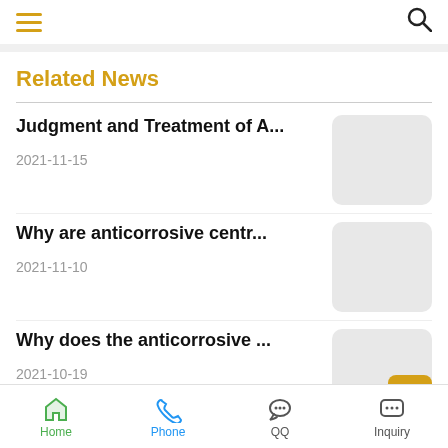Navigation header with hamburger menu and search icon
Related News
Judgment and Treatment of A...
2021-11-15
Why are anticorrosive centr...
2021-11-10
Why does the anticorrosive ...
2021-10-19
Home | Phone | QQ | Inquiry